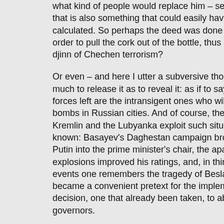what kind of people would replace him – see above. And that is also something that could easily have been calculated. So perhaps the deed was done precisely in order to pull the cork out of the bottle, thus releasing the djinn of Chechen terrorism?
Or even – and here I utter a subversive thought – not so much to release it as to reveal it: as if to say, look, the only forces left are the intransigent ones who will detonate bombs in Russian cities. And of course, the ability of the Kremlin and the Lubyanka exploit such situations is well-known: Basayev's Daghestan campaign brought Vladimir Putin into the prime minister's chair, the apartment block explosions improved his ratings, and, in thinking of recent events one remembers the tragedy of Beslan, which became a convenient pretext for the implementation of a decision, one that already been taken, to abolish elected governors.
So, following this logic, why should one not suppose that the Kremlin is